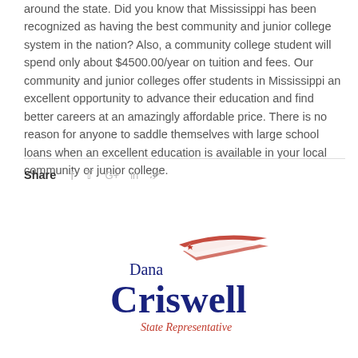around the state. Did you know that Mississippi has been recognized as having the best community and junior college system in the nation? Also, a community college student will spend only about $4500.00/year on tuition and fees. Our community and junior colleges offer students in Mississippi an excellent opportunity to advance their education and find better careers at an amazingly affordable price. There is no reason for anyone to saddle themselves with large school loans when an excellent education is available in your local community or junior college.
Share
[Figure (logo): Dana Criswell State Representative logo with American flag graphic]